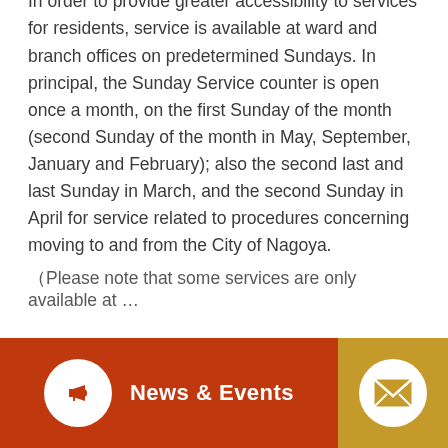In order to provide greater accessibility to services for residents, service is available at ward and branch offices on predetermined Sundays. In principal, the Sunday Service counter is open once a month, on the first Sunday of the month (second Sunday of the month in May, September, January and February); also the second last and last Sunday in March, and the second Sunday in April for service related to procedures concerning moving to and from the City of Nagoya.
News & Events